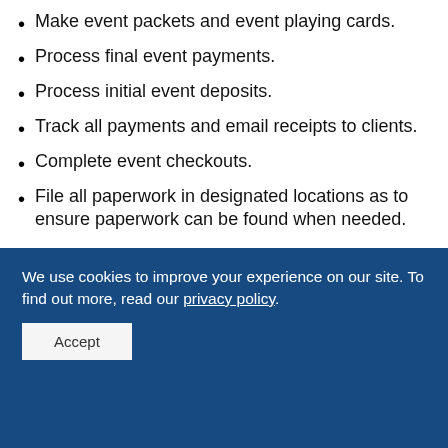Make event packets and event playing cards.
Process final event payments.
Process initial event deposits.
Track all payments and email receipts to clients.
Complete event checkouts.
File all paperwork in designated locations as to ensure paperwork can be found when needed.
We use cookies to improve your experience on our site. To find out more, read our privacy policy.